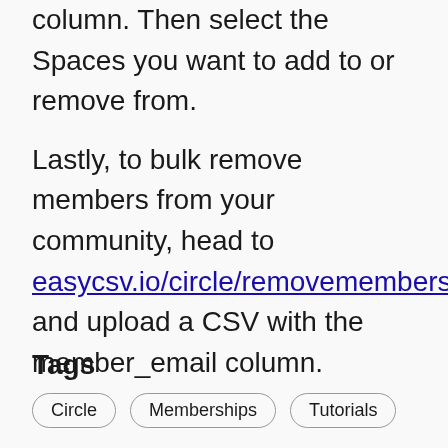Upload a CSV with the member_email column. Then select the Spaces you want to add to or remove from.
Lastly, to bulk remove members from your community, head to easycsv.io/circle/removemembers and upload a CSV with the member_email column.
Tags
Circle
Memberships
Tutorials